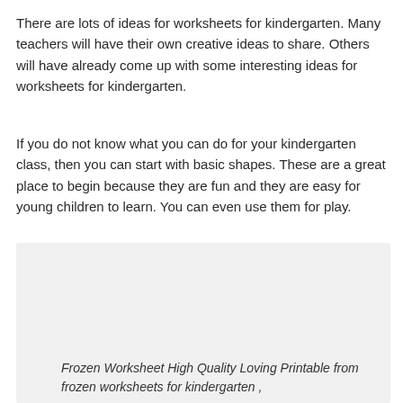There are lots of ideas for worksheets for kindergarten. Many teachers will have their own creative ideas to share. Others will have already come up with some interesting ideas for worksheets for kindergarten.
If you do not know what you can do for your kindergarten class, then you can start with basic shapes. These are a great place to begin because they are fun and they are easy for young children to learn. You can even use them for play.
[Figure (illustration): A large light gray placeholder image box representing a worksheet illustration.]
Frozen Worksheet High Quality Loving Printable from frozen worksheets for kindergarten ,